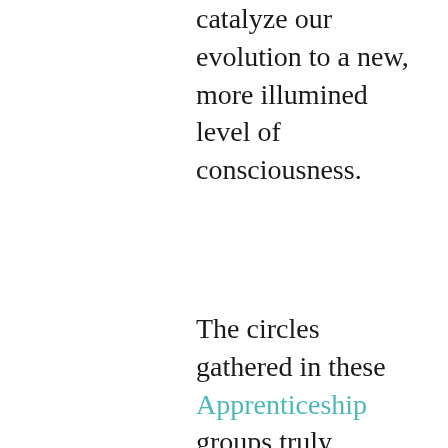catalyze our evolution to a new, more illumined level of consciousness.
The circles gathered in these Apprenticeship groups truly become family. For a year, we journey together though shamanic processes and initiations that have been passed